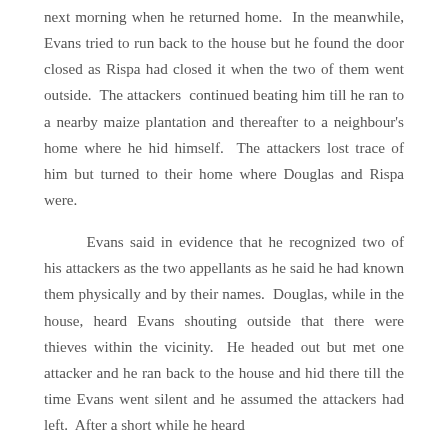next morning when he returned home.  In the meanwhile, Evans tried to run back to the house but he found the door closed as Rispa had closed it when the two of them went outside.  The attackers  continued beating him till he ran to a nearby maize plantation and thereafter to a neighbour's home where he hid himself.  The attackers lost trace of him but turned to their home where Douglas and Rispa were.

Evans said in evidence that he recognized two of his attackers as the two appellants as he said he had known them physically and by their names.  Douglas, while in the house, heard Evans shouting outside that there were thieves within the vicinity.  He headed out but met one attacker and he ran back to the house and hid there till the time Evans went silent and he assumed the attackers had left.  After a short while he heard